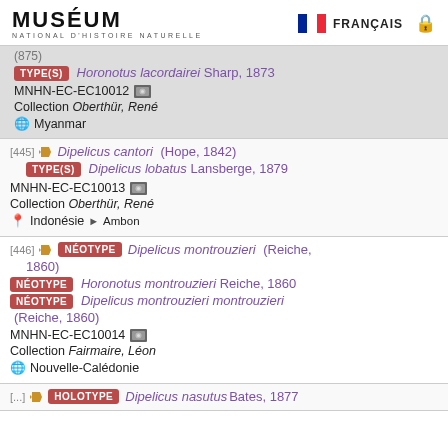MUSÉUM NATIONAL D'HISTOIRE NATURELLE | FRANÇAIS
[...] TYPE(S) Horonotus lacordairei Sharp, 1873 MNHN-EC-EC10012 Collection Oberthür, René Myanmar
[445] Dipelicus cantori (Hope, 1842) TYPE(S) Dipelicus lobatus Lansberge, 1879 MNHN-EC-EC10013 Collection Oberthür, René Indonésie > Ambon
[446] NÉOTYPE Dipelicus montrouzieri (Reiche, 1860) NÉOTYPE Horonotus montrouzieri Reiche, 1860 NÉOTYPE Dipelicus montrouzieri montrouzieri (Reiche, 1860) MNHN-EC-EC10014 Collection Fairmaire, Léon Nouvelle-Calédonie
[...] HOLOTYPE Dipelicus nasutus Bates, 1877